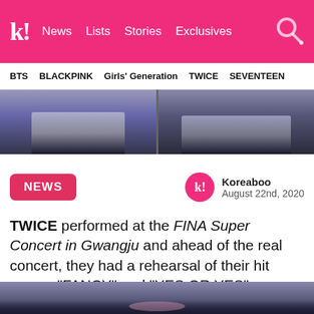k! News Lists Stories Exclusives
BTS BLACKPINK Girls' Generation TWICE SEVENTEEN
[Figure (photo): Two side-by-side video stills showing dancers' legs on a dark stage floor]
NEWS
Koreaboo
August 22nd, 2020
TWICE performed at the FINA Super Concert in Gwangju and ahead of the real concert, they had a rehearsal of their hit songs, “FANCY” and “YES OR YES”.
[Figure (photo): Concert stage photo showing performers and crowd in a dark venue]